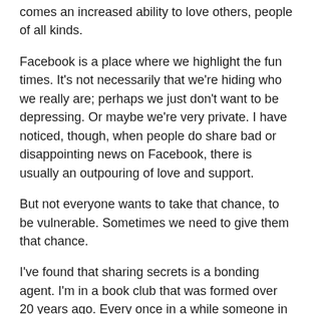comes an increased ability to love others, people of all kinds.
Facebook is a place where we highlight the fun times. It's not necessarily that we're hiding who we really are; perhaps we just don't want to be depressing. Or maybe we're very private. I have noticed, though, when people do share bad or disappointing news on Facebook, there is usually an outpouring of love and support.
But not everyone wants to take that chance, to be vulnerable. Sometimes we need to give them that chance.
I've found that sharing secrets is a bonding agent. I'm in a book club that was formed over 20 years ago. Every once in a while someone in the group shares a secret. The empathy in the room is palpable! And the group is tighter than ever.